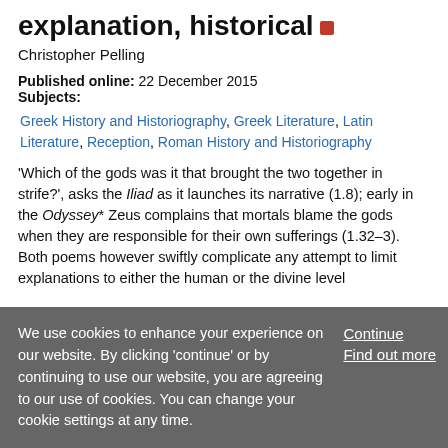explanation, historical
Christopher Pelling
Published online: 22 December 2015
Subjects: Greek History and Historiography, Greek Literature, Latin Literature, Reception, Roman History and Historiography
'Which of the gods was it that brought the two together in strife?', asks the Iliad as it launches its narrative (1.8); early in the Odyssey* Zeus complains that mortals blame the gods when they are responsible for their own sufferings (1.32–3). Both poems however swiftly complicate any attempt to limit explanations to either the human or the divine level
We use cookies to enhance your experience on our website. By clicking 'continue' or by continuing to use our website, you are agreeing to our use of cookies. You can change your cookie settings at any time.